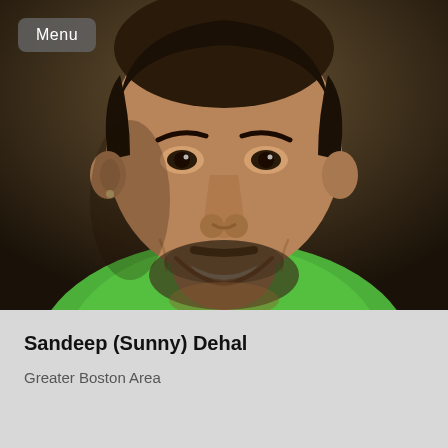[Figure (photo): Headshot of a smiling man with short dark hair and beard, wearing a bright green polo shirt, photographed against a dark background. A 'Menu' button overlay appears in the top-left corner of the image.]
Sandeep (Sunny) Dehal
Greater Boston Area